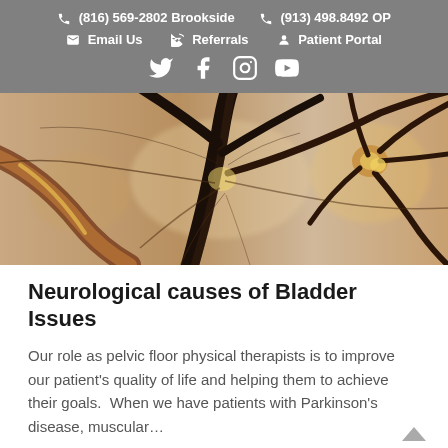📞 (816) 569-2802 Brookside   📞 (913) 498.8492 OP   ✉ Email Us   👍 Referrals   👤 Patient Portal
[Figure (photo): Close-up macro photograph of neuron cells with branching dendrites against a blurred warm background]
Neurological causes of Bladder Issues
Our role as pelvic floor physical therapists is to improve our patient's quality of life and helping them to achieve their goals.  When we have patients with Parkinson's disease, muscular…